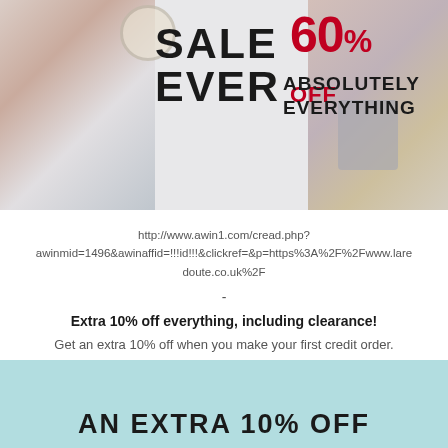[Figure (photo): Sale banner showing clothing and home items with text 'SALE EVER 60% OFF ABSOLUTELY EVERYTHING']
http://www.awin1.com/cread.php?awinmid=1496&awinaffid=!!!id!!!&clickref=&p=https%3A%2F%2Fwww.laredoute.co.uk%2F
-
Extra 10% off everything, including clearance!
Get an extra 10% off when you make your first credit order.
Code: CREDIT10
Ends 23.59pm 25/01/2018
[Figure (illustration): Light teal/mint colored banner with text 'AN EXTRA 10% OFF']